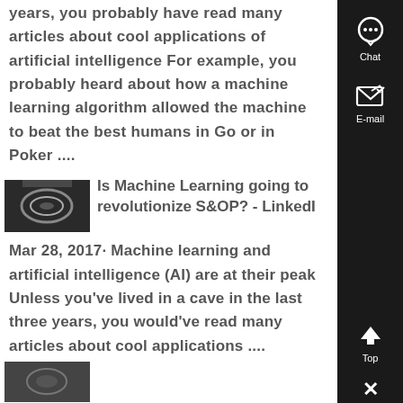years, you probably have read many articles about cool applications of artificial intelligence For example, you probably heard about how a machine learning algorithm allowed the machine to beat the best humans in Go or in Poker ....
[Figure (photo): Small thumbnail image of a circular metallic object on dark background]
Is Machine Learning going to revolutionize S&OP? - LinkedIn
Mar 28, 2017· Machine learning and artificial intelligence (AI) are at their peak Unless you've lived in a cave in the last three years, you would've read many articles about cool applications ....
[Figure (photo): Partially visible small thumbnail image at bottom of page]